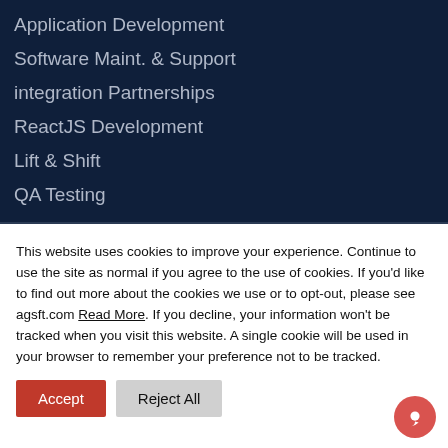Application Development
Software Maint. & Support
integration Partnerships
ReactJS Development
Lift & Shift
QA Testing
This website uses cookies to improve your experience. Continue to use the site as normal if you agree to the use of cookies. If you'd like to find out more about the cookies we use or to opt-out, please see agsft.com Read More. If you decline, your information won't be tracked when you visit this website. A single cookie will be used in your browser to remember your preference not to be tracked.